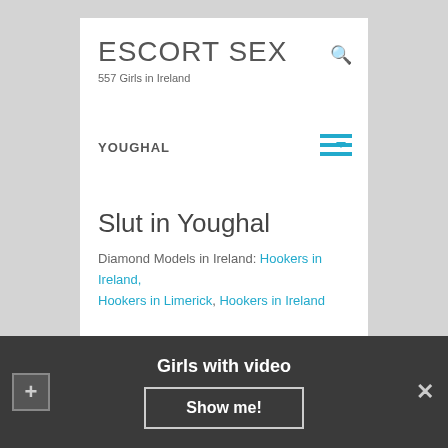ESCORT SEX
557 Girls in Ireland
YOUGHAL
Slut in Youghal
Diamond Models in Ireland: Hookers in Ireland, Hookers in Limerick, Hookers in Ireland
Experienced hotties
Girls with video
Show me!